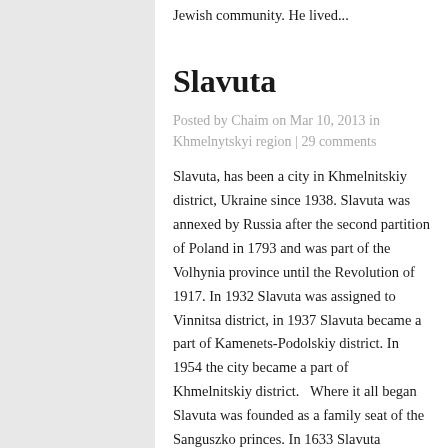Jewish community. He lived...
Slavuta
Posted by Chaim on Mar 10, 2013 in Khmelnytskyi region | 29 comments
Slavuta, has been a city in Khmelnitskiy district, Ukraine since 1938. Slavuta was annexed by Russia after the second partition of Poland in 1793 and was part of the Volhynia province until the Revolution of 1917. In 1932 Slavuta was assigned to Vinnitsa district, in 1937 Slavuta became a part of Kamenets-Podolskiy district. In 1954 the city became a part of Khmelnitskiy district.   Where it all began Slavuta was founded as a family seat of the Sanguszko princes. In 1633 Slavuta received Magdeburg self-governance...